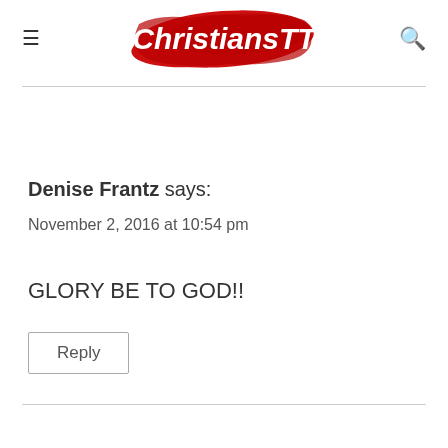ChristiansTT
Denise Frantz says:
November 2, 2016 at 10:54 pm
GLORY BE TO GOD!!
Reply